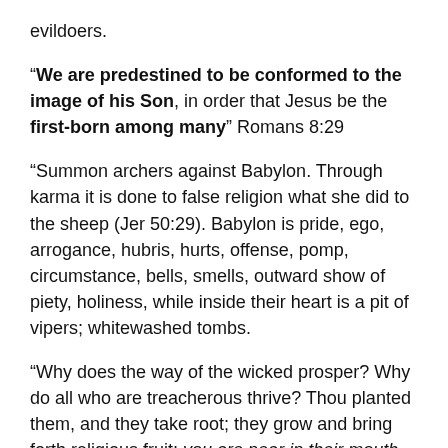evildoers.
“We are predestined to be conformed to the image of his Son, in order that Jesus be the first-born among many” Romans 8:29
“Summon archers against Babylon. Through karma it is done to false religion what she did to the sheep (Jer 50:29). Babylon is pride, ego, arrogance, hubris, hurts, offense, pomp, circumstance, bells, smells, outward show of piety, holiness, while inside their heart is a pit of vipers; whitewashed tombs.
“Why does the way of the wicked prosper? Why do all who are treacherous thrive? Thou planted them, and they take root; they grow and bring forth religious fruit; you are near in their mouth and far from their heart” Jeremiah 12:1-4